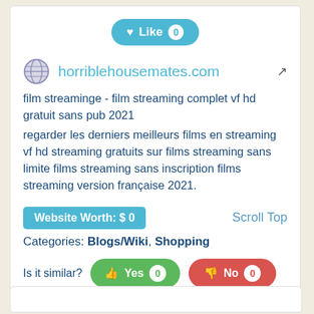♥ Like 0
horriblehousemates.com ↗
film streaminge - film streaming complet vf hd gratuit sans pub 2021
regarder les derniers meilleurs films en streaming vf hd streaming gratuits sur films streaming sans limite films streaming sans inscription films streaming version française 2021.
Website Worth: $ 0
Scroll Top
Categories: Blogs/Wiki, Shopping
Is it similar?
👍 Yes 0
👎 No 0